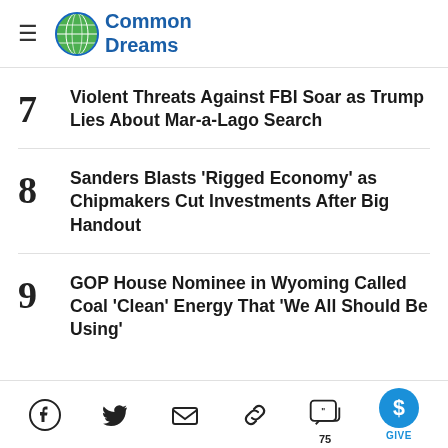Common Dreams
7 Violent Threats Against FBI Soar as Trump Lies About Mar-a-Lago Search
8 Sanders Blasts 'Rigged Economy' as Chipmakers Cut Investments After Big Handout
9 GOP House Nominee in Wyoming Called Coal 'Clean' Energy That 'We All Should Be Using'
Social share icons: Facebook, Twitter, Email, Link, Comments (75), GIVE